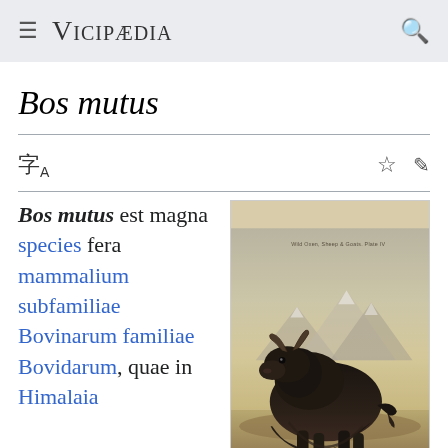Vicipaedia
Bos mutus
Bos mutus est magna species fera mammalium subfamiliae Bovinarum familiae Bovidarum, quae in Himalaia
[Figure (illustration): Historical illustration of a wild yak (Bos mutus) standing in a mountainous landscape. Labeled 'Wild Oxen, Sheep & Goats. Plate IV' in small text at top right.]